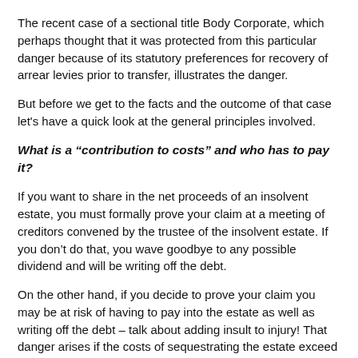The recent case of a sectional title Body Corporate, which perhaps thought that it was protected from this particular danger because of its statutory preferences for recovery of arrear levies prior to transfer, illustrates the danger.
But before we get to the facts and the outcome of that case let's have a quick look at the general principles involved.
What is a “contribution to costs” and who has to pay it?
If you want to share in the net proceeds of an insolvent estate, you must formally prove your claim at a meeting of creditors convened by the trustee of the insolvent estate. If you don’t do that, you wave goodbye to any possible dividend and will be writing off the debt.
On the other hand, if you decide to prove your claim you may be at risk of having to pay into the estate as well as writing off the debt – talk about adding insult to injury! That danger arises if the costs of sequestrating the estate exceed the funds in the estate available to pay them. In that event the trustee of the insolvent